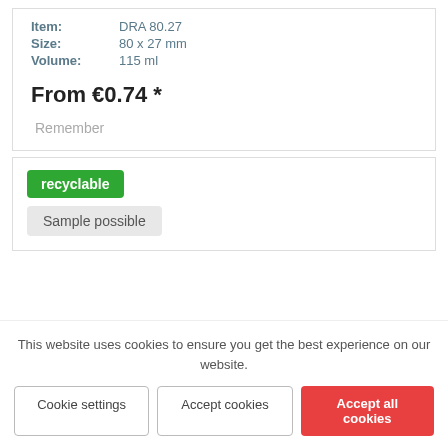Item: DRA 80.27
Size: 80 x 27 mm
Volume: 115 ml
From €0.74 *
Remember
recyclable
Sample possible
This website uses cookies to ensure you get the best experience on our website.
Cookie settings
Accept cookies
Accept all cookies